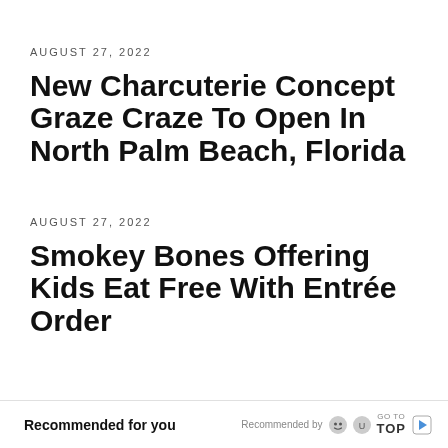AUGUST 27, 2022
New Charcuterie Concept Graze Craze To Open In North Palm Beach, Florida
AUGUST 27, 2022
Smokey Bones Offering Kids Eat Free With Entrée Order
Recommended for you   Recommended by [icon] GO TO TOP